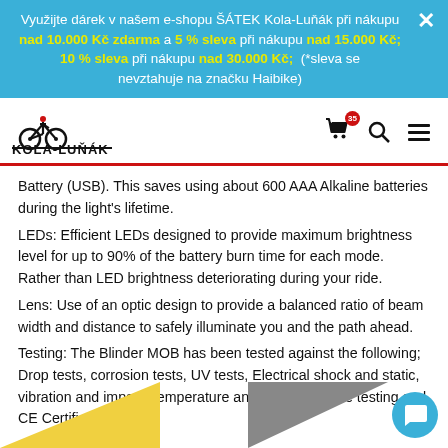Využijte dárek v našem e-shopu ŠÁTEK Kola-Luňák při nákupu nad 10.000 Kč zdarma a 5 % sleva při nákupu nad 15.000 Kč; 10 % sleva při nákupu nad 30.000 Kč; (*sleva se nevztahuje na značku Haibike)
[Figure (logo): Kola-Lunak logo with bicycle icon and red underline]
Battery (USB). This saves using about 600 AAA Alkaline batteries during the light's lifetime.
LEDs: Efficient LEDs designed to provide maximum brightness level for up to 90% of the battery burn time for each mode. Rather than LED brightness deteriorating during your ride.
Lens: Use of an optic design to provide a balanced ratio of beam width and distance to safely illuminate you and the path ahead.
Testing: The Blinder MOB has been tested against the following; Drop tests, corrosion tests, UV tests, Electrical shock and static, vibration and impact, temperature and humidity, cycle testing and CE Certification.